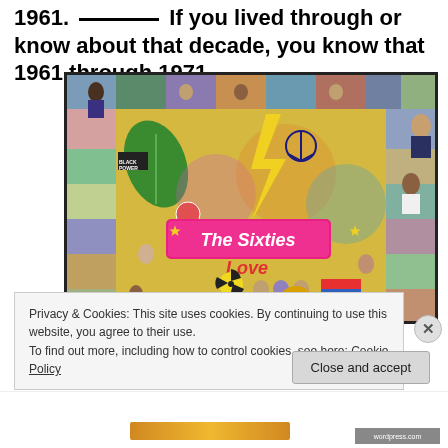1961. If you lived through or know about that decade, you know that 1961 through 1971
[Figure (illustration): Colorful illustrated collage titled 'The Sixties' showing various people, events, and cultural icons from the 1960s including civil rights imagery, musicians, politicians, and pop culture references.]
Privacy & Cookies: This site uses cookies. By continuing to use this website, you agree to their use.
To find out more, including how to control cookies, see here: Cookie Policy
Close and accept